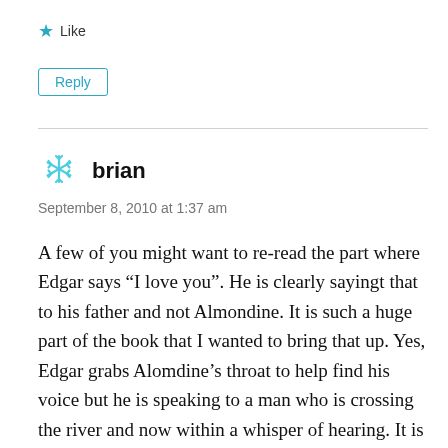★ Like
Reply
brian
September 8, 2010 at 1:37 am
A few of you might want to re-read the part where Edgar says “I love you”. He is clearly sayingt that to his father and not Almondine. It is such a huge part of the book that I wanted to bring that up. Yes, Edgar grabs Alomdine’s throat to help find his voice but he is speaking to a man who is crossing the river and now within a whisper of hearing. It is Edgar’s father